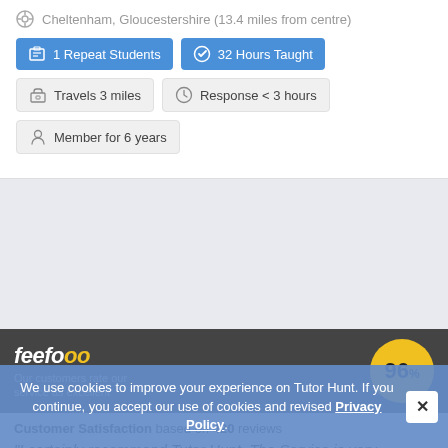Cheltenham, Gloucestershire (13.4 miles from centre)
1 Repeat Students
32 Hours Taught
Travels 3 miles
Response < 3 hours
Member for 6 years
[Figure (infographic): Feefo logo with 96% customer satisfaction rating badge (yellow circle)]
Customer Satisfaction based on 420 reviews
"I certainly recommend Tutor Hunt. The Service is very professional, and efficient..."
Lashae 2016/02/13
See all 420 reviews
We use cookies to improve your experience on Tutor Hunt. If you continue, you accept our use of cookies and revised Privacy Policy.